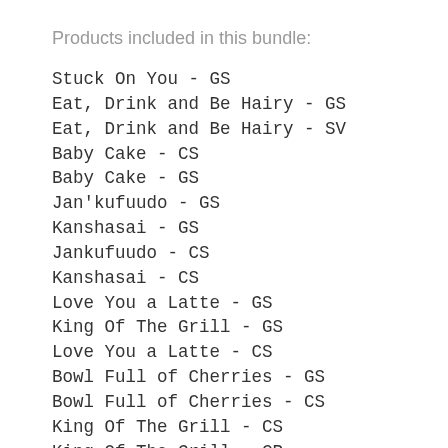Products included in this bundle:
Stuck On You - GS
Eat, Drink and Be Hairy - GS
Eat, Drink and Be Hairy - SV
Baby Cake - CS
Baby Cake - GS
Jan'kufuudo - GS
Kanshasai - GS
Jankufuudo - CS
Kanshasai - CS
Love You a Latte - GS
King Of The Grill - GS
Love You a Latte - CS
Bowl Full of Cherries - GS
Bowl Full of Cherries - CS
King Of The Grill - CS
King Of The Grill - CP
Stuck On You - CS
Strawberry Kisses - CS